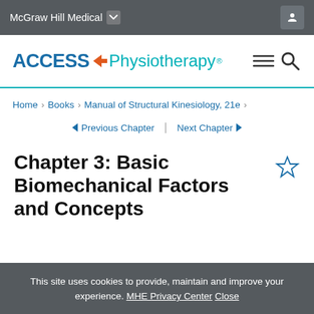McGraw Hill Medical
[Figure (logo): Access Physiotherapy logo with orange arrow and teal text]
Home > Books > Manual of Structural Kinesiology, 21e >
Previous Chapter | Next Chapter
Chapter 3: Basic Biomechanical Factors and Concepts
This site uses cookies to provide, maintain and improve your experience. MHE Privacy Center Close